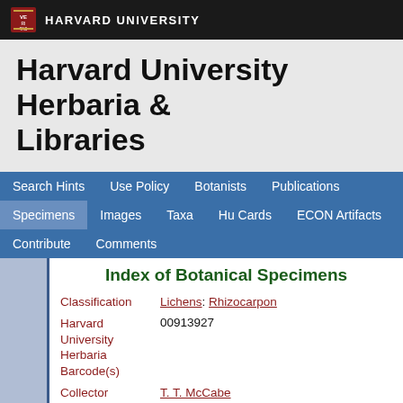HARVARD UNIVERSITY
Harvard University Herbaria & Libraries
Search Hints  Use Policy  Botanists  Publications  Specimens  Images  Taxa  Hu Cards  ECON Artifacts  Contribute  Comments
Index of Botanical Specimens
| Field | Value |
| --- | --- |
| Classification | Lichens: Rhizocarpon |
| Harvard University Herbaria Barcode(s) | 00913927 |
| Collector | T. T. McCabe |
| Country | Canada |
| State | Alberta |
| Geography | North America: North America (CA, US, MX) (Region): Alberta |